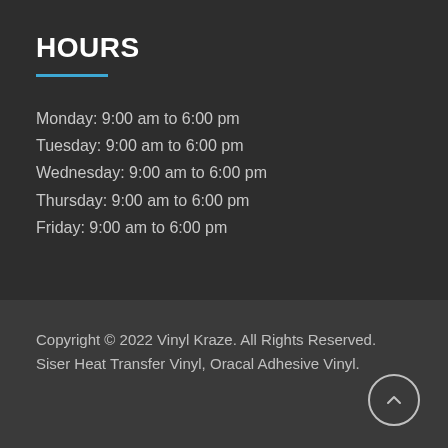HOURS
Monday: 9:00 am to 6:00 pm
Tuesday: 9:00 am to 6:00 pm
Wednesday: 9:00 am to 6:00 pm
Thursday: 9:00 am to 6:00 pm
Friday: 9:00 am to 6:00 pm
Copyright © 2022 Vinyl Kraze. All Rights Reserved. Siser Heat Transfer Vinyl, Oracal Adhesive Vinyl.